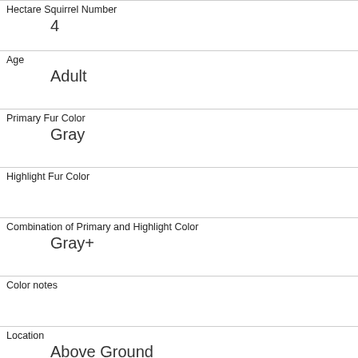| Field | Value |
| --- | --- |
| Hectare Squirrel Number | 4 |
| Age | Adult |
| Primary Fur Color | Gray |
| Highlight Fur Color |  |
| Combination of Primary and Highlight Color | Gray+ |
| Color notes |  |
| Location | Above Ground |
| Above Ground Sighter Measurement | 1 |
| Specific Location |  |
| Running | 0 |
| Chasing |  |